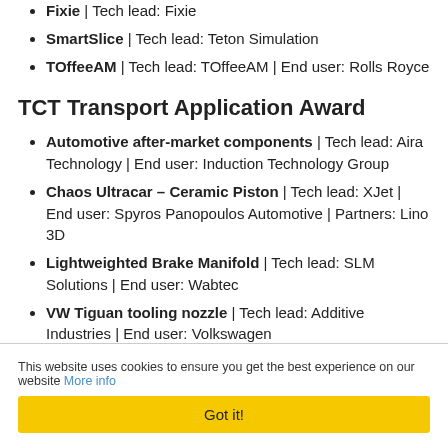Fixie | Tech lead: Fixie
SmartSlice | Tech lead: Teton Simulation
TOffeeAM | Tech lead: TOffeeAM | End user: Rolls Royce
TCT Transport Application Award
Automotive after-market components | Tech lead: Aira Technology | End user: Induction Technology Group
Chaos Ultracar – Ceramic Piston | Tech lead: XJet | End user: Spyros Panopoulos Automotive | Partners: Lino 3D
Lightweighted Brake Manifold | Tech lead: SLM Solutions | End user: Wabtec
VW Tiguan tooling nozzle | Tech lead: Additive Industries | End user: Volkswagen
This website uses cookies to ensure you get the best experience on our website More info
Got it!